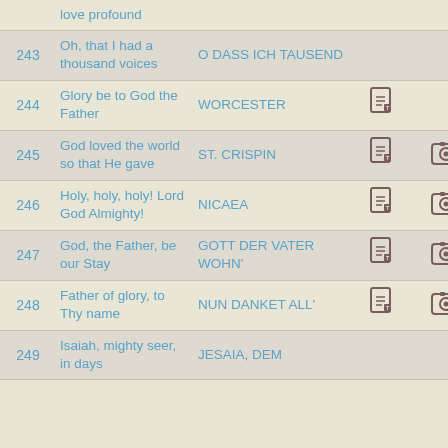| # | Title | Tune |  |  |
| --- | --- | --- | --- | --- |
|  | love profound |  |  |  |
| 243 | Oh, that I had a thousand voices | O DASS ICH TAUSEND |  |  |
| 244 | Glory be to God the Father | WORCESTER | 📄 |  |
| 245 | God loved the world so that He gave | ST. CRISPIN | 📄 | 📷 |
| 246 | Holy, holy, holy! Lord God Almighty! | NICAEA | 📄 | 📷 |
| 247 | God, the Father, be our Stay | GOTT DER VATER WOHN' | 📄 | 📷 |
| 248 | Father of glory, to Thy name | NUN DANKET ALL' | 📄 | 📷 |
| 249 | Isaiah, mighty seer, in days | JESAIA, DEM |  |  |